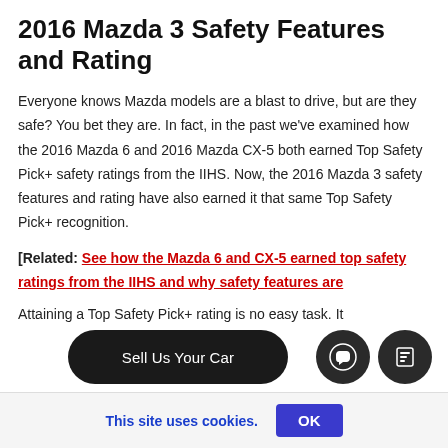2016 Mazda 3 Safety Features and Rating
Everyone knows Mazda models are a blast to drive, but are they safe? You bet they are. In fact, in the past we've examined how the 2016 Mazda 6 and 2016 Mazda CX-5 both earned Top Safety Pick+ safety ratings from the IIHS. Now, the 2016 Mazda 3 safety features and rating have also earned it that same Top Safety Pick+ recognition.
[Related: See how the Mazda 6 and CX-5 earned top safety ratings from the IIHS and why safety features are…]
Attaining a Top Safety Pick+ rating is no easy task. It
This site uses cookies.